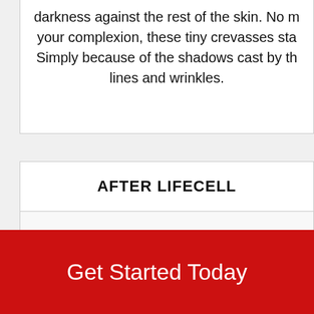darkness against the rest of the skin. No matter your complexion, these tiny crevasses sta... Simply because of the shadows cast by th... lines and wrinkles.
AFTER LIFECELL
[Figure (illustration): Partial view of a swoosh/arc graphic in orange-red gradient and a green arrow, part of a before/after product comparison layout for LifeCell skincare product.]
Get Started Today